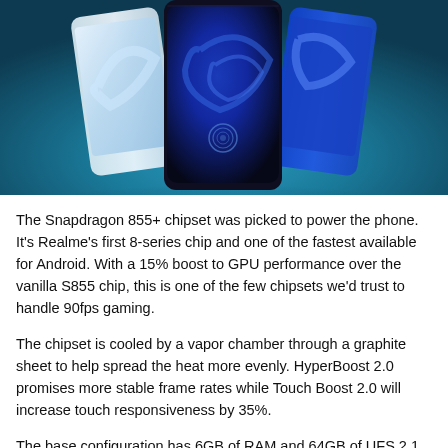[Figure (photo): Three smartphones displayed side by side against a dark teal/blue gradient background. The left phone has a white/light back, the center phone is black with a blue swirl display pattern and a fingerprint sensor visible, and the right phone has a bright blue back. The phones are slightly fanned out with the center one most prominent.]
The Snapdragon 855+ chipset was picked to power the phone. It's Realme's first 8-series chip and one of the fastest available for Android. With a 15% boost to GPU performance over the vanilla S855 chip, this is one of the few chipsets we'd trust to handle 90fps gaming.
The chipset is cooled by a vapor chamber through a graphite sheet to help spread the heat more evenly. HyperBoost 2.0 promises more stable frame rates while Touch Boost 2.0 will increase touch responsiveness by 35%.
The base configuration has 6GB of RAM and 64GB of UFS 2.1